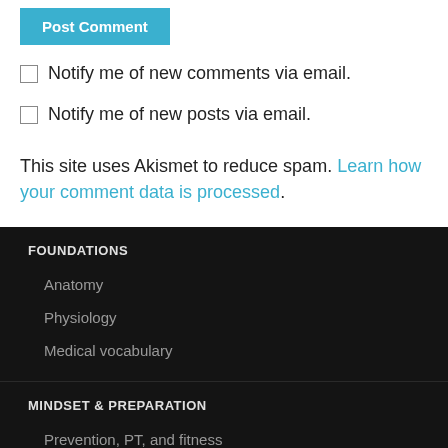Post Comment
Notify me of new comments via email.
Notify me of new posts via email.
This site uses Akismet to reduce spam. Learn how your comment data is processed.
FOUNDATIONS
Anatomy
Physiology
Medical vocabulary
MINDSET & PREPARATION
Prevention, PT, and fitness
Diet, lifestyle, & exercise